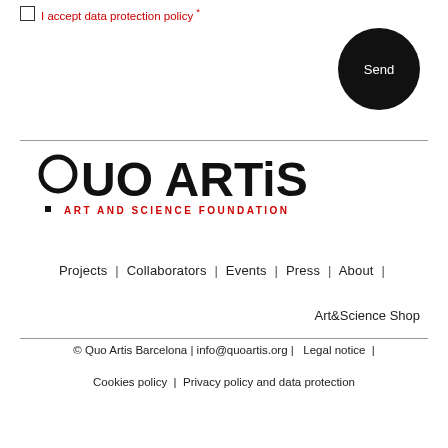I accept data protection policy *
[Figure (other): Black circular Send button]
[Figure (logo): Quo Artis Art and Science Foundation logo]
Projects | Collaborators | Events | Press | About | Art&Science Shop
© Quo Artis Barcelona | info@quoartis.org | Legal notice | Cookies policy | Privacy policy and data protection